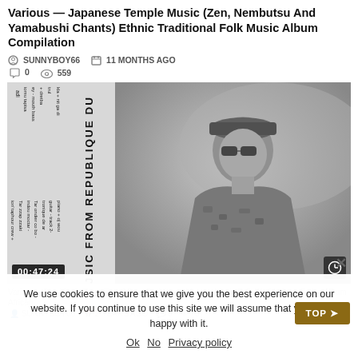Various — Japanese Temple Music (Zen, Nembutsu And Yamabushi Chants) Ethnic Traditional Folk Music Album Compilation
SUNNYBOY66   11 MONTHS AGO
0   559
[Figure (photo): Album cover for 'Musique Du Niger' / 'Musique From Republique Du Niger' showing a man in military cap and sunglasses with text rotated on the left side, black and white photo]
Various — Pop Music From Republique Du Niger : Afropop Music Folk World, Compilation Album African
SUNNYBOY66   2 YEARS AGO   0   797
We use cookies to ensure that we give you the best experience on our website. If you continue to use this site we will assume that you are happy with it.
Ok   No   Privacy policy